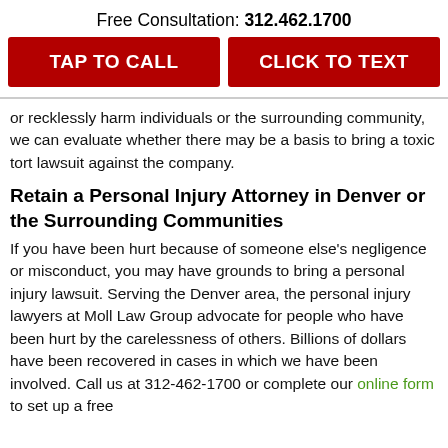Free Consultation: 312.462.1700
TAP TO CALL
CLICK TO TEXT
or recklessly harm individuals or the surrounding community, we can evaluate whether there may be a basis to bring a toxic tort lawsuit against the company.
Retain a Personal Injury Attorney in Denver or the Surrounding Communities
If you have been hurt because of someone else's negligence or misconduct, you may have grounds to bring a personal injury lawsuit. Serving the Denver area, the personal injury lawyers at Moll Law Group advocate for people who have been hurt by the carelessness of others. Billions of dollars have been recovered in cases in which we have been involved. Call us at 312-462-1700 or complete our online form to set up a free